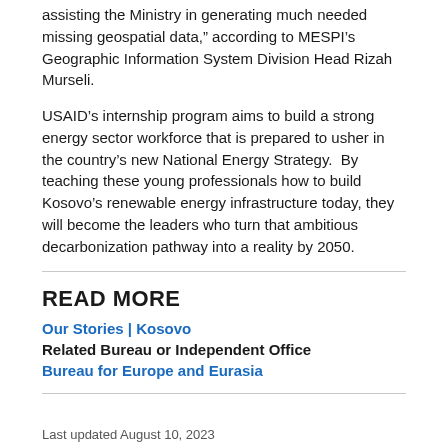assisting the Ministry in generating much needed missing geospatial data," according to MESPI's Geographic Information System Division Head Rizah Murseli.
USAID's internship program aims to build a strong energy sector workforce that is prepared to usher in the country's new National Energy Strategy.  By teaching these young professionals how to build Kosovo's renewable energy infrastructure today, they will become the leaders who turn that ambitious decarbonization pathway into a reality by 2050.
READ MORE
Our Stories | Kosovo
Related Bureau or Independent Office
Bureau for Europe and Eurasia
Last updated August 10, 2023